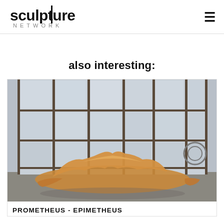sculpture NETWORK
also interesting:
[Figure (photo): A wooden organic sculpture resembling a flowing abstract form, photographed in an industrial space with large grid windows. The sculpture is golden/yellow wood, low to the ground, with undulating curved edges.]
PROMETHEUS - EPIMETHEUS